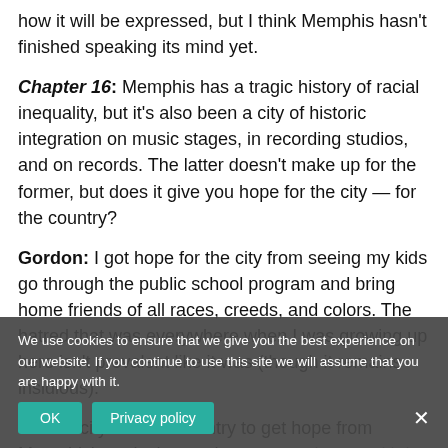how it will be expressed, but I think Memphis hasn't finished speaking its mind yet.
Chapter 16: Memphis has a tragic history of racial inequality, but it's also been a city of historic integration on music stages, in recording studios, and on records. The latter doesn't make up for the former, but does it give you hope for the city — for the country?
Gordon: I got hope for the city from seeing my kids go through the public school program and bring home friends of all races, creeds, and colors. The hatred that was everywhere when I was growing up here isn't prevalent like it was (though it remains insidious).
For the city and the country to get hope from Memphis' musical past, that past [needs to be] alive and not forgotten. When I was writing [a book], I was aware that my prime audience was diminishing every day. But I was pleased to see
We use cookies to ensure that we give you the best experience on our website. If you continue to use this site we will assume that you are happy with it.